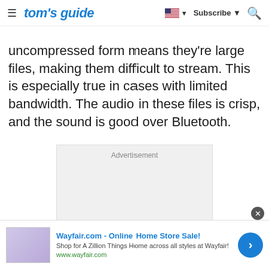tom's guide | Subscribe
uncompressed form means they're large files, making them difficult to stream. This is especially true in cases with limited bandwidth. The audio in these files is crisp, and the sound is good over Bluetooth.
[Figure (other): Advertisement placeholder box with light gray background]
[Figure (other): Wayfair.com banner advertisement - Online Home Store Sale! Shop for A Zillion Things Home across all styles at Wayfair! www.wayfair.com]